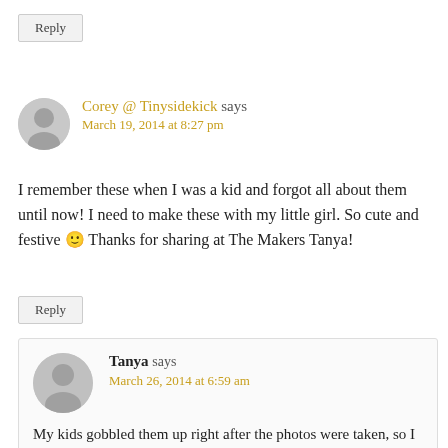Reply
Corey @ Tinysidekick says
March 19, 2014 at 8:27 pm
I remember these when I was a kid and forgot all about them until now! I need to make these with my little girl. So cute and festive 🙂 Thanks for sharing at The Makers Tanya!
Reply
Tanya says
March 26, 2014 at 6:59 am
My kids gobbled them up right after the photos were taken, so I think they liked them too! Thank you Corey. xo